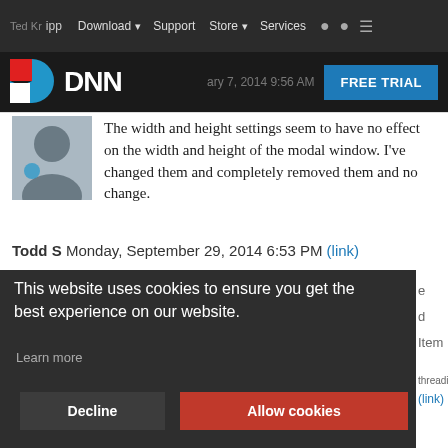Download  Support  Store  Services  [icons]
[Figure (logo): DNN platform logo with red and blue D icon and FREE TRIAL button]
The width and height settings seem to have no effect on the width and height of the modal window. I've changed them and completely removed them and no change.
Todd S  Monday, September 29, 2014 6:53 PM  (link)
This website uses cookies to ensure you get the best experience on our website.
Learn more
Decline   Allow cookies